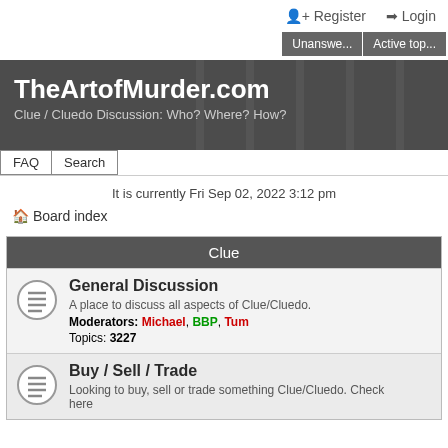Register  Login
Unanswe...  Active top...
TheArtofMurder.com
Clue / Cluedo Discussion: Who? Where? How?
FAQ
Search
It is currently Fri Sep 02, 2022 3:12 pm
Board index
Clue
General Discussion
A place to discuss all aspects of Clue/Cluedo.
Moderators: Michael, BBP, Tum
Topics: 3227
Buy / Sell / Trade
Looking to buy, sell or trade something Clue/Cluedo. Check here